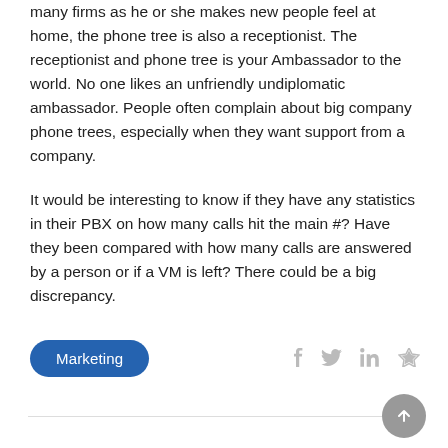many firms as he or she makes new people feel at home, the phone tree is also a receptionist. The receptionist and phone tree is your Ambassador to the world. No one likes an unfriendly undiplomatic ambassador. People often complain about big company phone trees, especially when they want support from a company.
It would be interesting to know if they have any statistics in their PBX on how many calls hit the main #? Have they been compared with how many calls are answered by a person or if a VM is left? There could be a big discrepancy.
Marketing